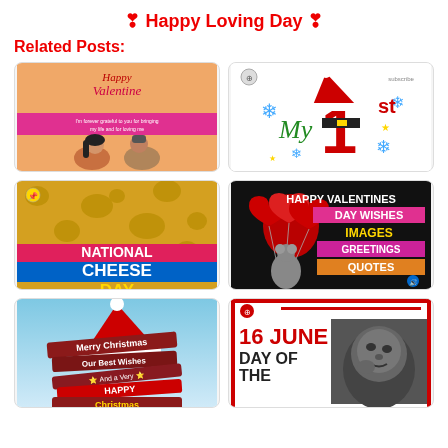❣ Happy Loving Day ❣
Related Posts:
[Figure (illustration): Happy Valentine card with couple illustration on orange background]
[Figure (illustration): My 1st Christmas card with Santa hat and snowflakes on white background]
[Figure (illustration): National Cheese Day card with cheese texture background and pink/blue text blocks]
[Figure (illustration): Happy Valentines Day Wishes Images Greetings Quotes card with red heart balloons]
[Figure (illustration): Merry Christmas Our Best Wishes sign posts card with Santa hat]
[Figure (illustration): 16 June Day of the ... card with baby photo in black and white]